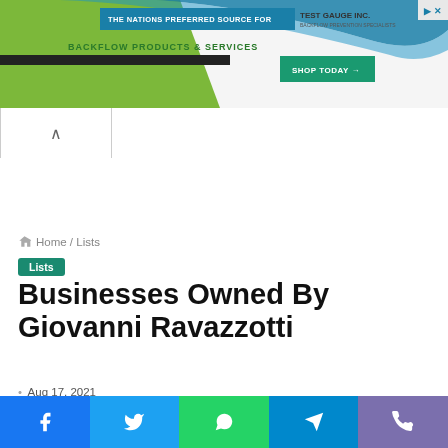[Figure (screenshot): Banner advertisement for Test Gauge Inc. showing 'The Nations Preferred Source For Backflow Products & Services' with a Shop Today button and green/teal design elements]
Home / Lists
Lists
Businesses Owned By Giovanni Ravazzotti
Aug 17, 2021